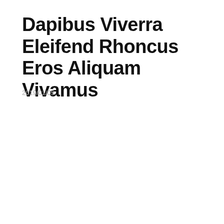Dapibus Viverra Eleifend Rhoncus Eros Aliquam Vivamus
2019/01/05